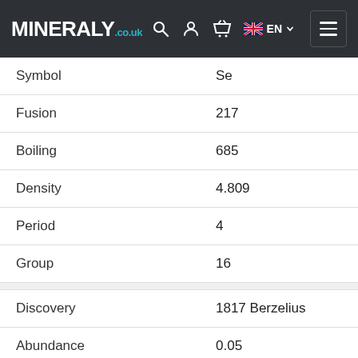MINERALY.co.uk EN
| Property | Value |
| --- | --- |
| Symbol | Se |
| Fusion | 217 |
| Boiling | 685 |
| Density | 4.809 |
| Period | 4 |
| Group | 16 |
| Discovery | 1817 Berzelius |
| Abundance | 0.05 |
| Radius | 1.2 |
| Electronegativity | 2.55 |
| Ionization | 9.7524 |
| Number of isotopes | 20 |
| Electronic configuration | [Ar] 3d10 4s2 4p4 |